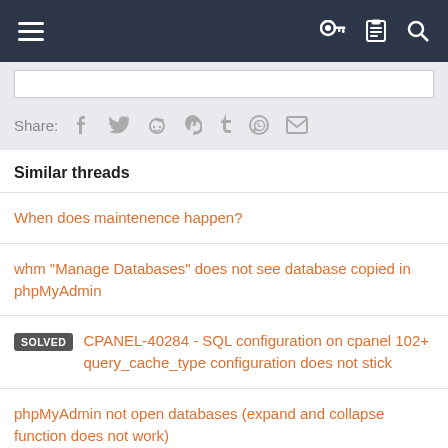Navigation bar with hamburger menu and icons
Share:
Similar threads
When does maintenence happen?
whm "Manage Databases" does not see database copied in phpMyAdmin
SOLVED CPANEL-40284 - SQL configuration on cpanel 102+ query_cache_type configuration does not stick
phpMyAdmin not open databases (expand and collapse function does not work)
Terminating Accounts Does Not Delete the Mysql Users?